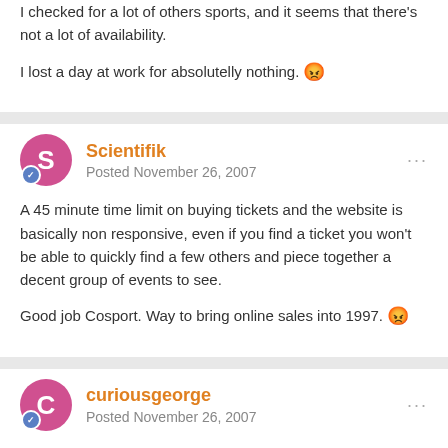I checked for a lot of others sports, and it seems that there's not a lot of availability.
I lost a day at work for absolutelly nothing. 😡
Scientifik
Posted November 26, 2007
A 45 minute time limit on buying tickets and the website is basically non responsive, even if you find a ticket you won't be able to quickly find a few others and piece together a decent group of events to see.
Good job Cosport. Way to bring online sales into 1997. 😡
curiousgeorge
Posted November 26, 2007